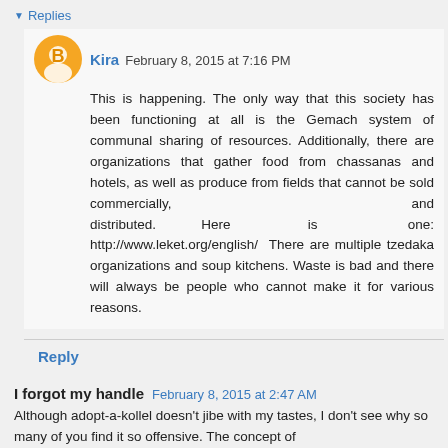▼ Replies
Kira February 8, 2015 at 7:16 PM
This is happening. The only way that this society has been functioning at all is the Gemach system of communal sharing of resources. Additionally, there are organizations that gather food from chassanas and hotels, as well as produce from fields that cannot be sold commercially, and distributed. Here is one: http://www.leket.org/english/ There are multiple tzedaka organizations and soup kitchens. Waste is bad and there will always be people who cannot make it for various reasons.
Reply
I forgot my handle February 8, 2015 at 2:47 AM
Although adopt-a-kollel doesn't jibe with my tastes, I don't see why so many of you find it so offensive. The concept of